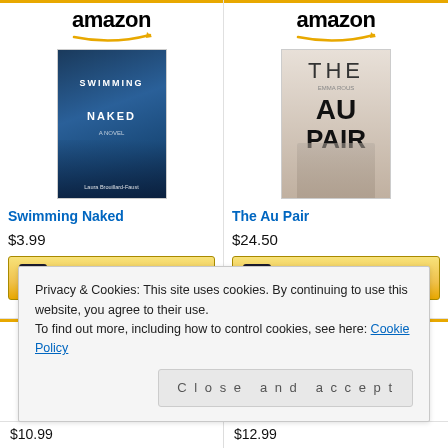[Figure (screenshot): Amazon product card for 'Swimming Naked' book, showing Amazon logo, book cover, title link, price $3.99, and Shop now button]
[Figure (screenshot): Amazon product card for 'The Au Pair' book, showing Amazon logo, book cover, title link, price $24.50, and Shop now button]
[Figure (screenshot): Partial Amazon product card at bottom left showing Amazon logo and partial book cover by Taylor Jenkins Reid]
[Figure (screenshot): Partial Amazon product card at bottom right showing Amazon logo and partial book cover]
Privacy & Cookies: This site uses cookies. By continuing to use this website, you agree to their use.
To find out more, including how to control cookies, see here: Cookie Policy
Close and accept
$10.99
$12.99